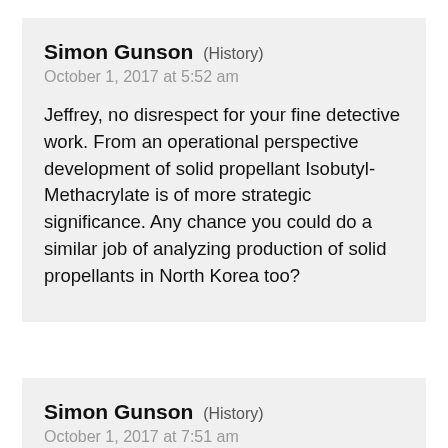Simon Gunson (History)
October 1, 2017 at 5:52 am
Jeffrey, no disrespect for your fine detective work. From an operational perspective development of solid propellant Isobutyl-Methacrylate is of more strategic significance. Any chance you could do a similar job of analyzing production of solid propellants in North Korea too?
Simon Gunson (History)
October 1, 2017 at 7:51 am
What about the UGF 39°55'5.09″N, 127°38'48.10″E at Sanho-guyok?